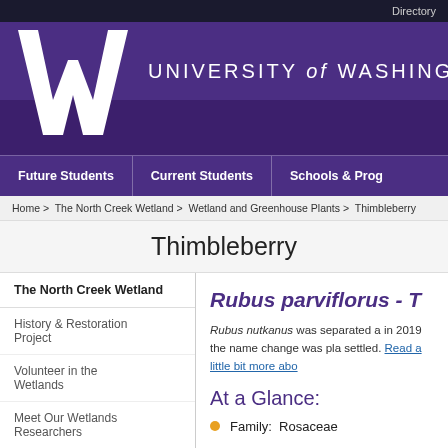Directory
[Figure (logo): University of Washington purple header banner with large W logo and text UNIVERSITY of WASHINGTON]
Future Students | Current Students | Schools & Programs
Home > The North Creek Wetland > Wetland and Greenhouse Plants > Thimbleberry
Thimbleberry
The North Creek Wetland
History & Restoration Project
Volunteer in the Wetlands
Meet Our Wetlands Researchers
Rubus parviflorus - T
Rubus nutkanus was separated a... in 2019 the name change was pla... settled. Read a little bit more abo...
At a Glance:
Family:  Rosaceae